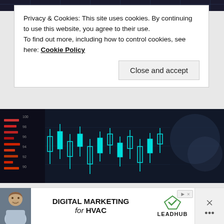[Figure (photo): Stock market chart image at top, dark background with candlestick chart]
Privacy & Cookies: This site uses cookies. By continuing to use this website, you agree to their use.
To find out more, including how to control cookies, see here: Cookie Policy
Close and accept
[Figure (photo): Stock market candlestick chart on dark background, middle section]
Passive income through option writing: Part 3
March 27, 2019
In "Asset Allocation"
[Figure (photo): Stock market chart image at bottom, dark background]
[Figure (infographic): Advertisement banner for Digital Marketing for HVAC by LeadHub, featuring a person photo and LeadHub logo with X close button]